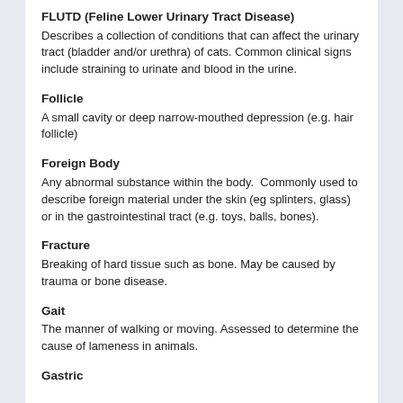FLUTD (Feline Lower Urinary Tract Disease)
Describes a collection of conditions that can affect the urinary tract (bladder and/or urethra) of cats. Common clinical signs include straining to urinate and blood in the urine.
Follicle
A small cavity or deep narrow-mouthed depression (e.g. hair follicle)
Foreign Body
Any abnormal substance within the body.  Commonly used to describe foreign material under the skin (eg splinters, glass) or in the gastrointestinal tract (e.g. toys, balls, bones).
Fracture
Breaking of hard tissue such as bone. May be caused by trauma or bone disease.
Gait
The manner of walking or moving. Assessed to determine the cause of lameness in animals.
Gastric